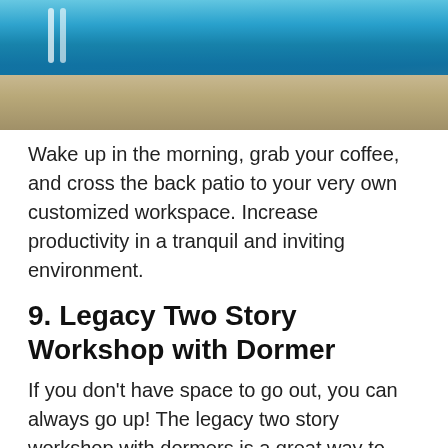[Figure (photo): Outdoor pool area with lounge chairs, a fire pit, and blue pool water]
Wake up in the morning, grab your coffee, and cross the back patio to your very own customized workspace. Increase productivity in a tranquil and inviting environment.
9. Legacy Two Story Workshop with Dormer
If you don't have space to go out, you can always go up! The legacy two story workshop with dormers is a great way to maximize your space in style.
[Figure (photo): Exterior view of a two-story workshop building with trees and sky in background]